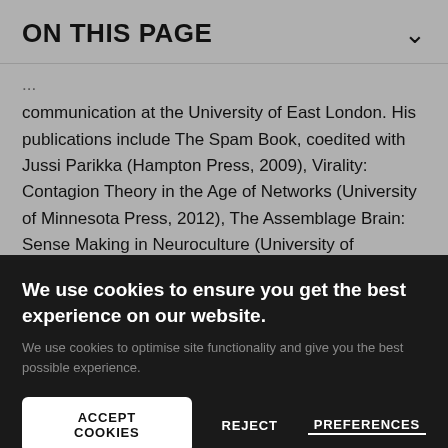ON THIS PAGE
... communication at the University of East London. His publications include The Spam Book, coedited with Jussi Parikka (Hampton Press, 2009), Virality: Contagion Theory in the Age of Networks (University of Minnesota Press, 2012), The Assemblage Brain: Sense Making in Neuroculture (University of Minnesota Press, Dec 2016) and Affect and
We use cookies to ensure you get the best experience on our website.
We use cookies to optimise site functionality and give you the best possible experience.
ACCEPT COOKIES
REJECT
PREFERENCES